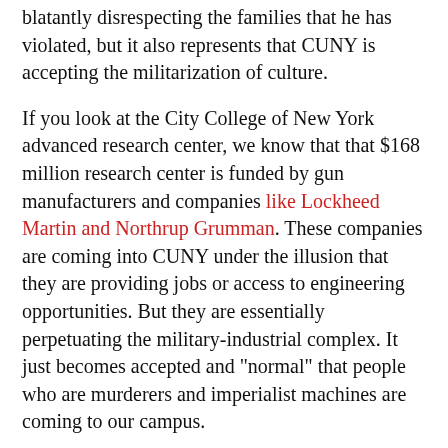blatantly disrespecting the families that he has violated, but it also represents that CUNY is accepting the militarization of culture.
If you look at the City College of New York advanced research center, we know that that $168 million research center is funded by gun manufacturers and companies like Lockheed Martin and Northrup Grumman. These companies are coming into CUNY under the illusion that they are providing jobs or access to engineering opportunities. But they are essentially perpetuating the military-industrial complex. It just becomes accepted and "normal" that people who are murderers and imperialist machines are coming to our campus.
CAN YOU talk about how the Ad Hoc Committee came together and started to build the campaign, and some of the highlights?
Oscar: It's a group of interested people from different